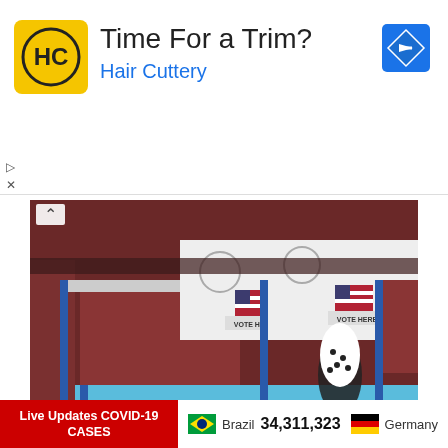[Figure (other): Hair Cuttery advertisement banner with logo, text 'Time For a Trim? Hair Cuttery' and a blue navigation arrow icon]
[Figure (photo): Voting booths with US flags and 'VOTE HERE' signs in a polling location, dark red/maroon dividers, blue supports, person visible in background]
NYers Head To Polls On Primary Election Day
Abdulafeez Olaitan   Aug 24, 2022   0
New Yorkers headed to the polls on Primary Election
Live Updates COVID-19 CASES   Brazil 34,311,323   Germany